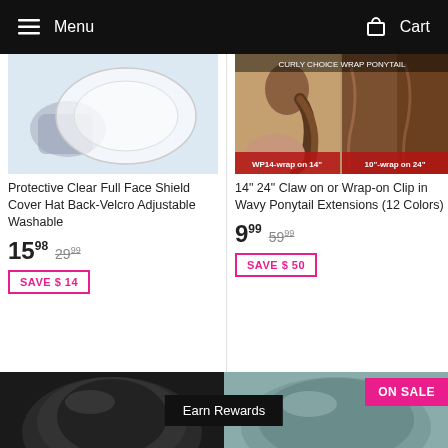Menu   Cart
[Figure (photo): Hand holding a clear protective face shield — white background product photo]
Protective Clear Full Face Shield Cover Hat Back-Velcro Adjustable Washable
15 98  29 99
SAVE $ 14
[Figure (photo): Collage showing wavy ponytail hair extensions in multiple views and shades, labeled WP14-wrap on 14 and 10-wrap on 24]
14" 24" Claw on or Wrap-on Clip in Wavy Ponytail Extensions (12 Colors)
9 99  59 99
SAVE $ 50
[Figure (photo): Bottom preview showing two product images partially visible: dark satin cap on left, grey/teal item on right]
Earn Rewards
ON SALE